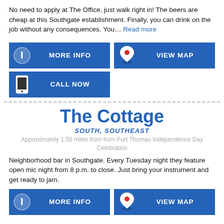No need to apply at The Office, just walk right in! The beers are cheap at this Southgate establishment. Finally, you can drink on the job without any consequences. You... Read more
[Figure (infographic): Blue button with info icon and text MORE INFO]
[Figure (infographic): Blue button with map pin icon and text VIEW MAP]
[Figure (infographic): Blue button with phone icon and text CALL NOW]
The Cottage
SOUTH, SOUTHEAST
Approximately 1.55 miles from from Fort Thomas Independence Day Celebration
Neighborhood bar in Southgate. Every Tuesday night they feature open mic night from 8 p.m. to close. Just bring your instrument and get ready to jam.
[Figure (infographic): Blue button with info icon and text MORE INFO]
[Figure (infographic): Blue button with map pin icon and text VIEW MAP]